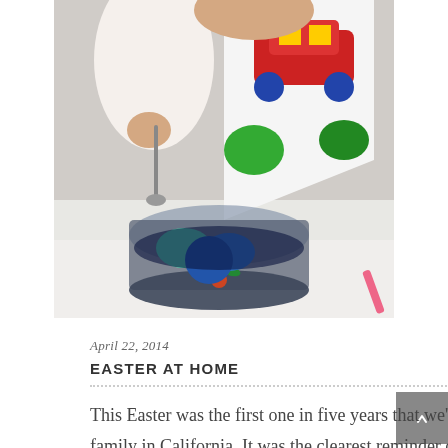[Figure (photo): A young child wearing a colorful bib with a car design, holding a spoon over a glass bowl containing blue Easter eggs dyed in dark liquid, sitting on a white towel.]
April 22, 2014
EASTER AT HOME
This Easter was the first one in five years that we've spent with our family in California. It was the clearest reminder of